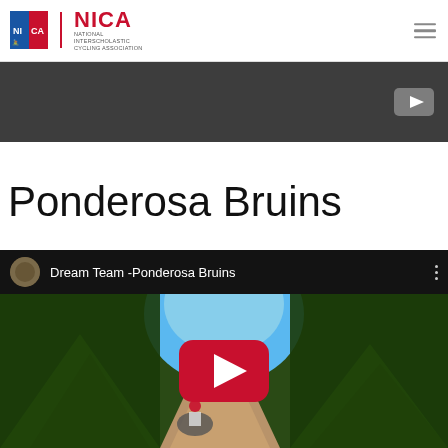NICA - National Interscholastic Cycling Association
Ponderosa Bruins
[Figure (screenshot): YouTube video embed titled 'Dream Team -Ponderosa Bruins' showing a mountain biker on a forest trail with a YouTube play button overlay]